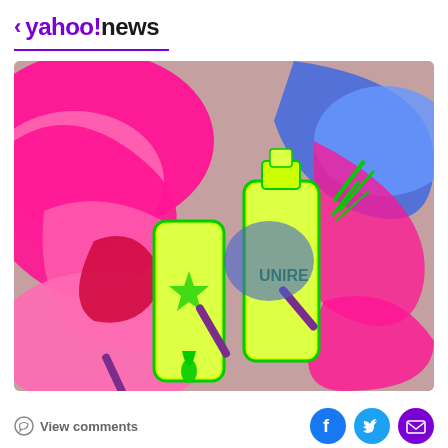< yahoo!news
[Figure (illustration): Colorful digital illustration showing neon yellow/green vape or e-cigarette devices surrounded by vibrant pink, magenta, blue, and purple abstract balloon-like shapes. The devices have green drips and purple accents. Text 'UNIRE' visible on one device.]
View comments